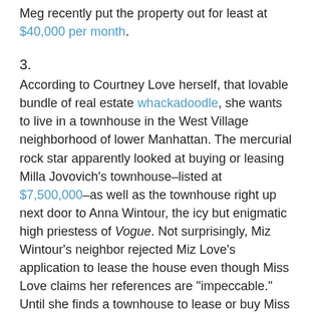Meg recently put the property out for least at $40,000 per month.
3.
According to Courtney Love herself, that lovable bundle of real estate whackadoodle, she wants to live in a townhouse in the West Village neighborhood of lower Manhattan. The mercurial rock star apparently looked at buying or leasing Milla Jovovich's townhouse–listed at $7,500,000–as well as the townhouse right up next door to Anna Wintour, the icy but enigmatic high priestess of Vogue. Not surprisingly, Miz Wintour's neighbor rejected Miz Love's application to lease the house even though Miss Love claims her references are "impeccable." Until she finds a townhouse to lease or buy Miss Love is, according to her, shacked up at the posh and celebrity packed Mercer Hotel.
4.
The owners of Astor Courts, the Rhinebeck, NY estate where former first daughter Chelsea Clinton got married last week, have done fired their real estate agent and, in the days immediately following the lavish and stoopidly